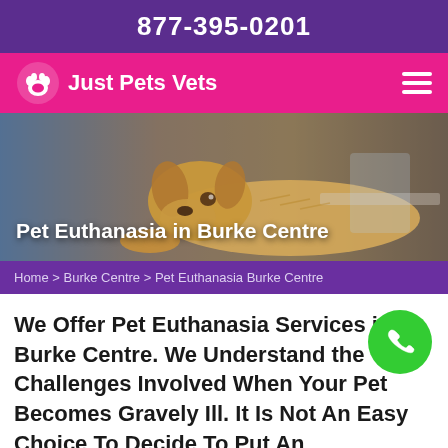877-395-0201
Just Pets Vets
[Figure (photo): A golden retriever dog lying on a veterinary examination table, looking at the camera with a calm expression. The background shows a slightly blurred clinical environment.]
Pet Euthanasia in Burke Centre
Home > Burke Centre > Pet Euthanasia Burke Centre
We Offer Pet Euthanasia Services in Burke Centre. We Understand the Challenges Involved When Your Pet Becomes Gravely Ill. It Is Not An Easy Choice To Decide To Put An